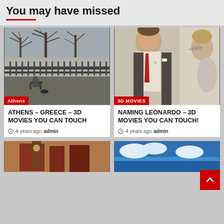You may have missed
[Figure (photo): Street photo showing a person sitting on a bench near an iron fence with bare trees in the background. Tag: Athens]
ATHENS – GREECE – 3D MOVIES YOU CAN TOUCH
4 years ago  admin
[Figure (photo): Photo of two people, a man in a suit with red tie and a woman with glasses, facing each other. Tag: 3D MOVIES]
NAMING LEONARDO – 3D MOVIES YOU CAN TOUCH!
4 years ago  admin
[Figure (photo): Partial view of a street scene with red/brown buildings and a clock tower]
[Figure (photo): Partial view of a sky and sea scene with clouds]